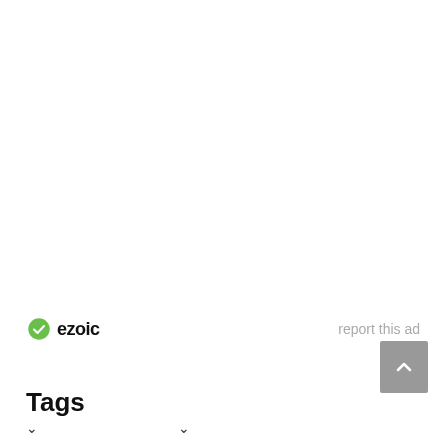[Figure (logo): Ezoic logo with green circular checkmark icon and bold black 'ezoic' text]
report this ad
[Figure (other): Grey scroll-to-top button with upward chevron arrow]
Tags